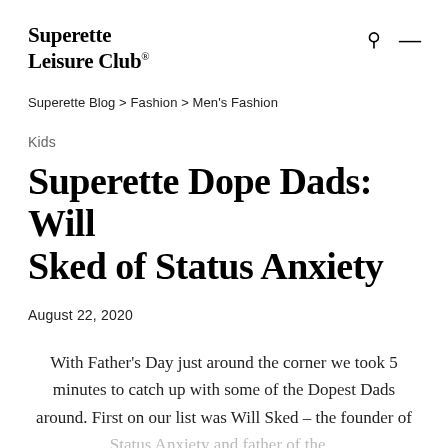Superette Leisure Club®
Superette Blog > Fashion > Men's Fashion
Kids
Superette Dope Dads: Will Sked of Status Anxiety
August 22, 2020
With Father's Day just around the corner we took 5 minutes to catch up with some of the Dopest Dads around. First on our list was Will Sked – the founder of Status Anxiety and father of the...